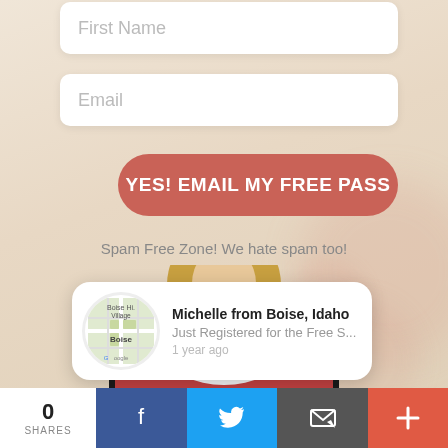First Name
Email
YES! EMAIL MY FREE PASS
Spam Free Zone! We hate spam too!
[Figure (photo): Smiling blonde woman behind a laptop screen with a decorative pinkish background]
Michelle from Boise, Idaho
Just Registered for the Free S...
1 year ago
0
SHARES